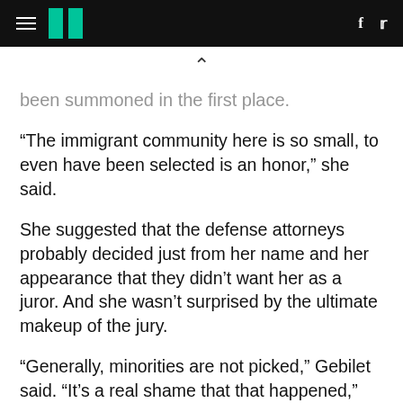HuffPost navigation header with hamburger menu, logo, Facebook and Twitter icons
been summoned in the first place.
“The immigrant community here is so small, to even have been selected is an honor,” she said.
She suggested that the defense attorneys probably decided just from her name and her appearance that they didn’t want her as a juror. And she wasn’t surprised by the ultimate makeup of the jury.
“Generally, minorities are not picked,” Gebilet said. “It’s a real shame that that happened,” she